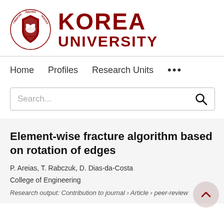[Figure (logo): Korea University logo with circular emblem on left showing a bear and 'LIBERTAS JUSTITIA VERITAS' text, and bold dark red 'KOREA UNIVERSITY' text on the right]
Home    Profiles    Research Units    ...
[Figure (other): Search input box with search icon]
Element-wise fracture algorithm based on rotation of edges
P. Areias, T. Rabczuk, D. Dias-da-Costa
College of Engineering
Research output: Contribution to journal › Article › peer-review